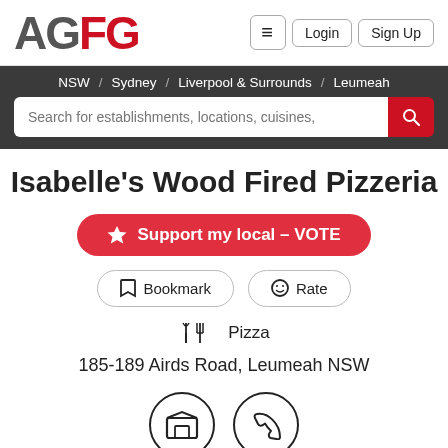AGFG | Login | Sign Up
NSW / Sydney / Liverpool & Surrounds / Leumeah
Search for establishments, locations, cuisines,
Isabelle's Wood Fired Pizzeria
Support my local – VOTE
Bookmark  Rate
Pizza
185-189 Airds Road, Leumeah NSW